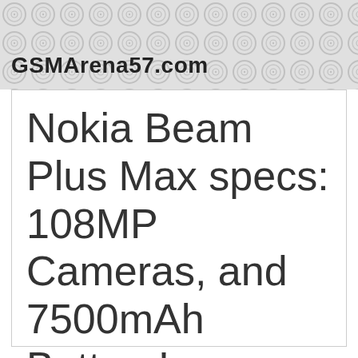GSMArena57.com
Nokia Beam Plus Max specs: 108MP Cameras, and 7500mAh Battery!